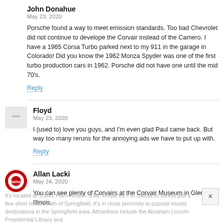John Donahue
May 23, 2020
Porsche found a way to meet emission standards. Too bad Chevrolet did not continue to develope the Corvair instead of the Camero. I have a 1965 Corsa Turbo parked next to my 911 in the garage in Colorado! Did you know the 1962 Monza Spyder was one of the first turbo production cars in 1962. Porsche did not have one until the mid 70's.
Reply
Floyd
May 23, 2020
I (used to) love you guys, and I'm even glad Paul came back. But way too many reruns for the annoying ads we have to put up with.
Reply
Allan Lacki
May 24, 2020
You can see plenty of Corvairs at the Corvair Museum in Glenarm, Illinois.
It's located at 10041 Palm Road – a.ka. Route 66 – in Glenarm, Illinois just a few short miles south of Springfield. It's in close proximity to popular tourist destinations in the Springfield area. Attractions include the Abraham Lincoln Presidential Library and